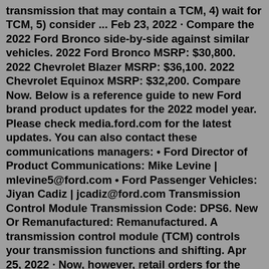transmission that may contain a TCM, 4) wait for TCM, 5) consider ... Feb 23, 2022 · Compare the 2022 Ford Bronco side-by-side against similar vehicles. 2022 Ford Bronco MSRP: $30,800. 2022 Chevrolet Blazer MSRP: $36,100. 2022 Chevrolet Equinox MSRP: $32,200. Compare Now. Below is a reference guide to new Ford brand product updates for the 2022 model year. Please check media.ford.com for the latest updates. You can also contact these communications managers: • Ford Director of Product Communications: Mike Levine | mlevine5@ford.com • Ford Passenger Vehicles: Jiyan Cadiz | jcadiz@ford.com Transmission Control Module Transmission Code: DPS6. New Or Remanufactured: Remanufactured. A transmission control module (TCM) controls your transmission functions and shifting. Apr 25, 2022 · Now, however, retail orders for the 2022 Ford Super Duty have been cut off altogether, according to the model's official site. “Due to high demand, the current model year is no longer available for retail order,” the site reads